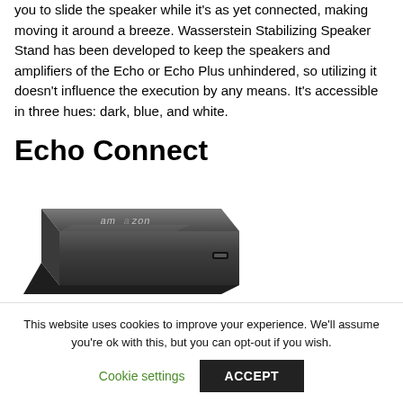you to slide the speaker while it's as yet connected, making moving it around a breeze. Wasserstein Stabilizing Speaker Stand has been developed to keep the speakers and amplifiers of the Echo or Echo Plus unhindered, so utilizing it doesn't influence the execution by any means. It's accessible in three hues: dark, blue, and white.
Echo Connect
[Figure (photo): Amazon Echo Connect device — a dark grey rectangular hardware unit with 'amazon' branding on the top surface, shown at a slight angle]
This website uses cookies to improve your experience. We'll assume you're ok with this, but you can opt-out if you wish.